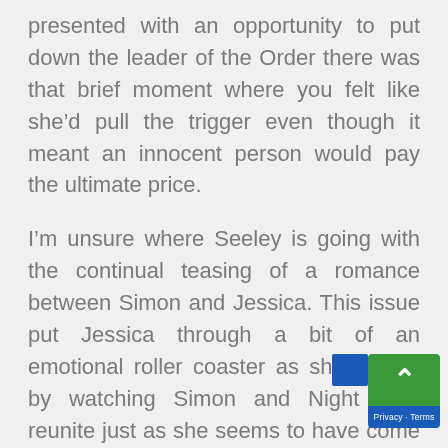presented with an opportunity to put down the leader of the Order there was that brief moment where you felt like she’d pull the trigger even though it meant an innocent person would pay the ultimate price.
I’m unsure where Seeley is going with the continual teasing of a romance between Simon and Jessica. This issue put Jessica through a bit of an emotional roller coaster as she stands by watching Simon and Night Pilot reunite just as she seems to have come to some sort of understanding about her feelings for Baz. That zigs and zags a couple of times for the rest of the issue before we’re left with the disturbing image of Jessica surrounded constructs presumably representing the hu that killed Jessica’s friends. I really hope that